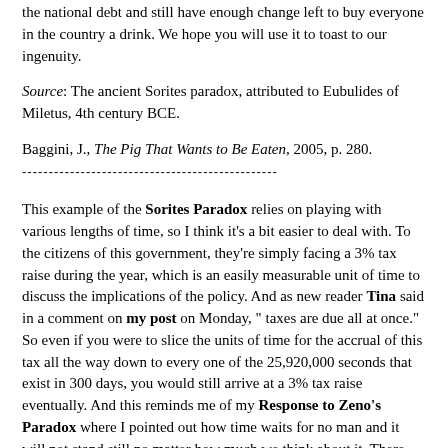the national debt and still have enough change left to buy everyone in the country a drink. We hope you will use it to toast to our ingenuity.
Source: The ancient Sorites paradox, attributed to Eubulides of Miletus, 4th century BCE.
Baggini, J., The Pig That Wants to Be Eaten, 2005, p. 280.
This example of the Sorites Paradox relies on playing with various lengths of time, so I think it's a bit easier to deal with. To the citizens of this government, they're simply facing a 3% tax raise during the year, which is an easily measurable unit of time to discuss the implications of the policy. And as new reader Tina said in a comment on my post on Monday, " taxes are due all at once." So even if you were to slice the units of time for the accrual of this tax all the way down to every one of the 25,920,000 seconds that exist in 300 days, you would still arrive at a 3% tax raise eventually. And this reminds me of my Response to Zeno's Paradox where I pointed out how time waits for no man and it will not stand still no matter how much we think about it. There may be uncertainty about when precisely the tax raise becomes